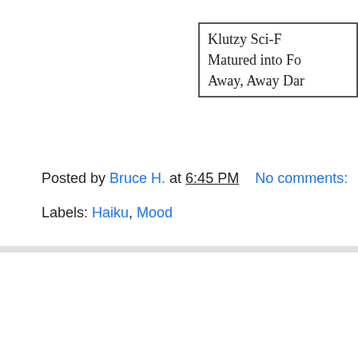Klutzy Sci-F
Matured into Fo
Away, Away Dar
Posted by Bruce H. at 6:45 PM    No comments:
Labels: Haiku, Mood
Friday, November 10, 2006
SpongeBob and the Hasselhoff?!? WOW!!
After getting back from the Observatory, the wife w school and the school she used to work at. I was not Travels listening to the last three hours of the Spong with the SpongeBob SpongeBob Pantsumo A